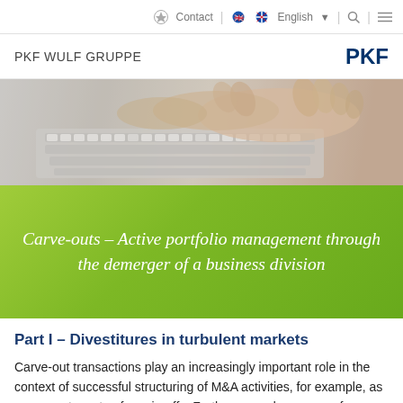Contact | English | [search] [menu]
PKF WULF GRUPPE — PKF
[Figure (photo): Close-up photograph of hands typing on a laptop keyboard, muted grey tones]
Carve-outs – Active portfolio management through the demerger of a business division
Part I – Divestitures in turbulent markets
Carve-out transactions play an increasingly important role in the context of successful structuring of M&A activities, for example, as a preparatory step for spin-offs. Furthermore, demergers of groups also act, among